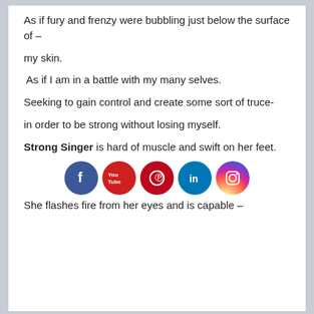As if fury and frenzy were bubbling just below the surface of –
my skin.
As if I am in a battle with my many selves.
Seeking to gain control and create some sort of truce-
in order to be strong without losing myself.
Strong Singer is hard of muscle and swift on her feet.
[Figure (infographic): Row of five circular social media icons: Facebook (blue), YouTube (red), Pinterest (red), LinkedIn (blue), Instagram (gradient)]
She flashes fire from her eyes and is capable –